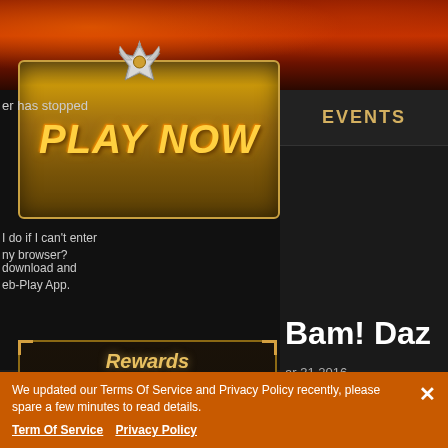[Figure (screenshot): Game advertisement screenshot showing fire/lava themed background at top, dark panel sections, a golden 'PLAY NOW' button box with crown emblem, a Rewards panel showing Diamond (1000), Furniture Coin (500), and Seal Stone (300) items, events section, and partial text content]
er has stopped
PLAY NOW
EVENTS
I do if I can't enter
ny browser?
Bam! Daz
download and
eb-Play App.
ar 31,2016
Rewards
1000
Diamond
500
Furniture Coin
300
Seal Stone
A
dow
icia
y! League of Ange
ve prepared abund
up! Build your les
App
We updated our Terms Of Service and Privacy Policy recently, please spare a few minutes to read details.
Term Of Service   Privacy Policy